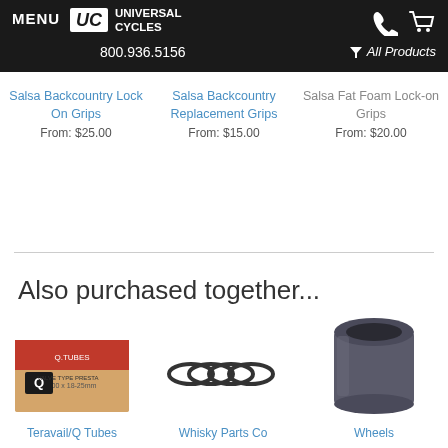MENU | UC UNIVERSAL CYCLES | 800.936.5156 | All Products
Salsa Backcountry Lock On Grips
From: $25.00
Salsa Backcountry Replacement Grips
From: $15.00
Salsa Fat Foam Lock-on Grips
From: $20.00
Also purchased together...
[Figure (photo): Teravail/Q Tubes product box]
[Figure (photo): Whisky Parts Co rings/spacers]
[Figure (photo): Wheels cylindrical headset spacer]
Teravail/Q Tubes
Whisky Parts Co
Wheels